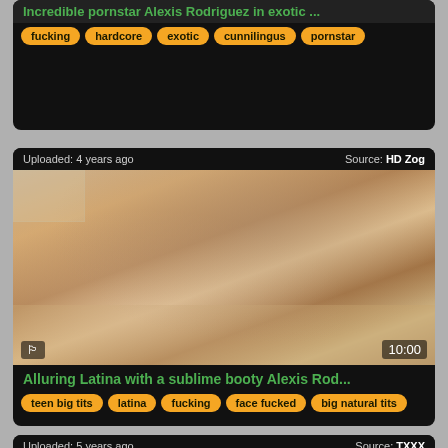Incredible pornstar Alexis Rodriguez in exotic ...
fucking  hardcore  exotic  cunnilingus  pornstar
Uploaded: 4 years ago    Source: HD Zog
[Figure (photo): Video thumbnail showing two people on a couch, duration 10:00]
Alluring Latina with a sublime booty Alexis Rod...
teen big tits  latina  fucking  face fucked  big natural tits
Uploaded: 5 years ago    Source: TXXX
[Figure (photo): Partial video thumbnail visible at bottom of page]